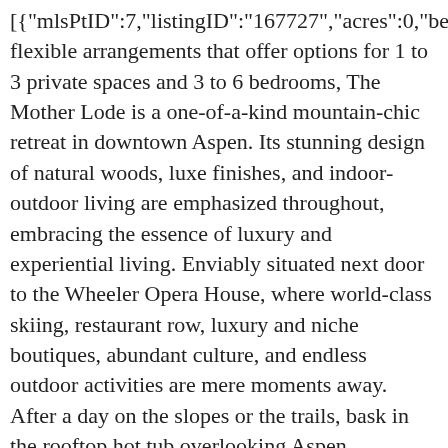[{"mlsPtID":7,"listingID":"167727","acres":0,"bedrooms":6,"flexible arrangements that offer options for 1 to 3 private spaces and 3 to 6 bedrooms, The Mother Lode is a one-of-a-kind mountain-chic retreat in downtown Aspen. Its stunning design of natural woods, luxe finishes, and indoor-outdoor living are emphasized throughout, embracing the essence of luxury and experiential living. Enviably situated next door to the Wheeler Opera House, where world-class skiing, restaurant row, luxury and niche boutiques, abundant culture, and endless outdoor activities are mere moments away. After a day on the slopes or the trails, bask in the rooftop hot tub overlooking Aspen Mountain. The Club level features a spa\/massage room, golf simulator, arcade games, sleek bar, pool table and ping pong, private fitness studio, and luxury theatre room.","zipcode":"81611","idxStatus":"active","latitude":39.1 E Hyman